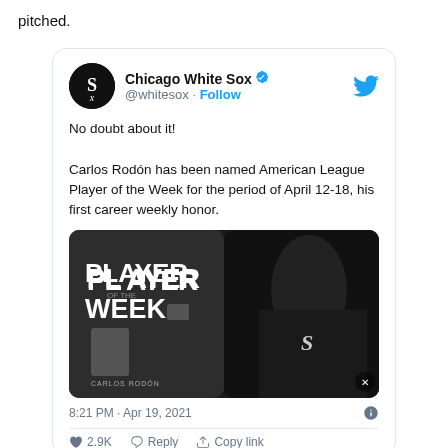pitched.
[Figure (screenshot): Embedded tweet from @whitesox (Chicago White Sox) with verified badge and Follow link. Tweet text: 'No doubt about it! Carlos Rodón has been named American League Player of the Week for the period of April 12-18, his first career weekly honor.' Includes a Player of the Week promotional image showing a Chicago White Sox pitcher celebrating. Timestamp: 8:21 PM · Apr 19, 2021. Actions row at bottom shows heart, reply, and copy link options.]